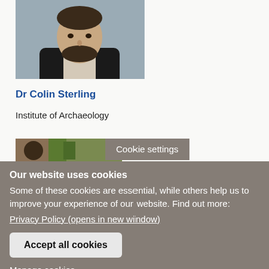[Figure (photo): Headshot photo of Dr Colin Sterling, a man with dark beard wearing black cardigan over light shirt, grey background]
Dr Colin Sterling
Institute of Archaeology
[Figure (photo): Partial image of people engaged in craft/weaving activity outdoors with green foliage]
Cookie settings
Our website uses cookies
Some of these cookies are essential, while others help us to improve your experience of our website. Find out more: Privacy Policy (opens in new window)
Accept all cookies
Manage cookies